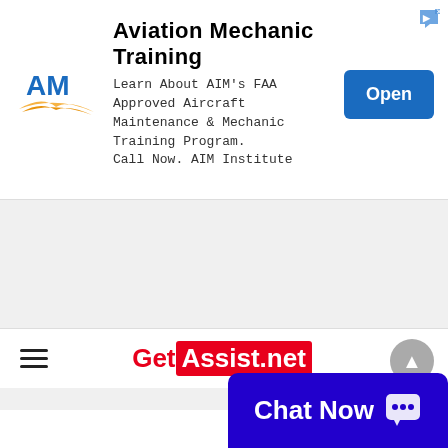[Figure (screenshot): Advertisement banner for AIM Institute Aviation Mechanic Training with logo, description text, and Open button]
Aviation Mechanic Training
Learn About AIM's FAA Approved Aircraft Maintenance & Mechanic Training Program. Call Now. AIM Institute
[Figure (logo): GetAssist.net website logo in red and white]
[Figure (screenshot): Chat Now button in blue/purple at bottom right]